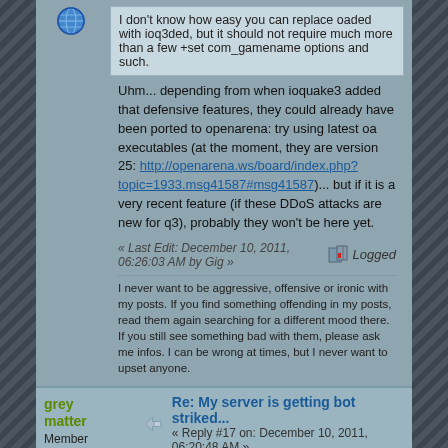I don't know how easy you can replace oaded with ioq3ded, but it should not require much more than a few +set com_gamename options and such.
Uhm... depending from when ioquake3 added that defensive features, they could already have been ported to openarena: try using latest oa executables (at the moment, they are version 25: http://openarena.ws/board/index.php?topic=1933.msg41587#msg41587)... but if it is a very recent feature (if these DDoS attacks are new for q3), probably they won't be here yet.
« Last Edit: December 10, 2011, 06:26:03 AM by Gig »  Logged
I never want to be aggressive, offensive or ironic with my posts. If you find something offending in my posts, read them again searching for a different mood there. If you still see something bad with them, please ask me infos. I can be wrong at times, but I never want to upset anyone.
grey matter
Member
Cakes 8
Posts: 381
>9k
Re: My server is getting bot striked...
« Reply #17 on: December 10, 2011, 06:20:48 AM »
Quote from: ioquake3 log
Revision: 1762
Time: 03.01.2010 23:12
Author: tma
Path: code/server/sv_main.c (trunk)